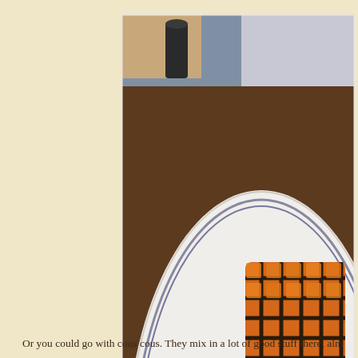[Figure (photo): A photo of a restaurant plate from Hillstone restaurant showing an open-faced sandwich or burger with grilled salmon/fish with crosshatch grill marks, lettuce, tomato, red onion rings on toasted bread, alongside a couscous salad with almonds and raisins. The white plate has 'HILLSTONE' written on it. A person's hands are visible in the background.]
Or you could go with cous cous. They mix in a lot of good stuff there, alm